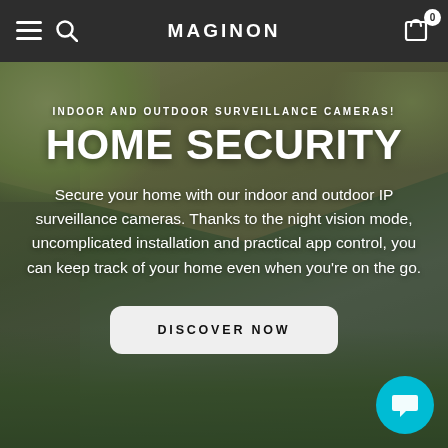MAGINON
INDOOR AND OUTDOOR SURVEILLANCE CAMERAS!
HOME SECURITY
Secure your home with our indoor and outdoor IP surveillance cameras. Thanks to the night vision mode, uncomplicated installation and practical app control, you can keep track of your home even when you're on the go.
DISCOVER NOW